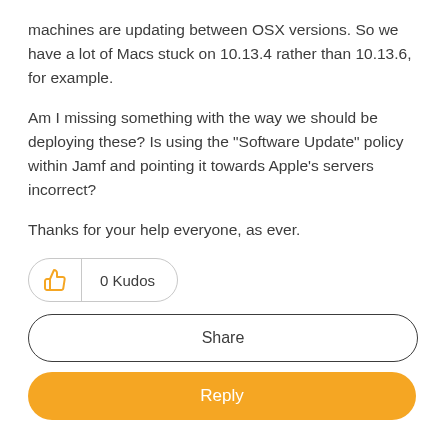machines are updating between OSX versions. So we have a lot of Macs stuck on 10.13.4 rather than 10.13.6, for example.
Am I missing something with the way we should be deploying these? Is using the "Software Update" policy within Jamf and pointing it towards Apple's servers incorrect?
Thanks for your help everyone, as ever.
[Figure (other): Kudos button showing thumbs up icon and '0 Kudos' text, with Share button below, and orange Reply button at the bottom]